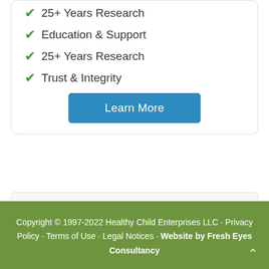✔ 25+ Years Research
✔ Education & Support
✔ 25+ Years Research
✔ Trust & Integrity
Learn More
Product Search
Copyright © 1997-2022 Healthy Child Enterprises LLC · Privacy Policy · Terms of Use · Legal Notices · Website by Fresh Eyes Consultancy